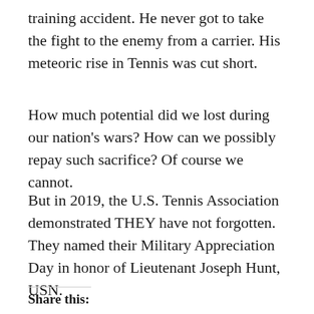training accident. He never got to take the fight to the enemy from a carrier. His meteoric rise in Tennis was cut short.
How much potential did we lost during our nation's wars? How can we possibly repay such sacrifice? Of course we cannot.
But in 2019, the U.S. Tennis Association demonstrated THEY have not forgotten. They named their Military Appreciation Day in honor of Lieutenant Joseph Hunt, USN.
Share this: